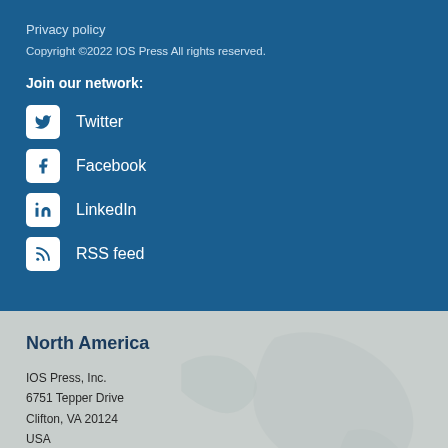Privacy policy
Copyright ©2022 IOS Press All rights reserved.
Join our network:
Twitter
Facebook
LinkedIn
RSS feed
North America
IOS Press, Inc.
6751 Tepper Drive
Clifton, VA 20124
USA
Tel: +1 703 830 6300
Fax: +1 703 830 2300
sales@iospress.com